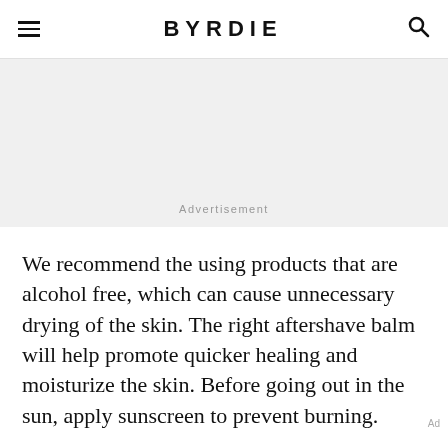BYRDIE
[Figure (other): Advertisement banner area with gray background and 'Advertisement' label]
We recommend the using products that are alcohol free, which can cause unnecessary drying of the skin. The right aftershave balm will help promote quicker healing and moisturize the skin. Before going out in the sun, apply sunscreen to prevent burning.